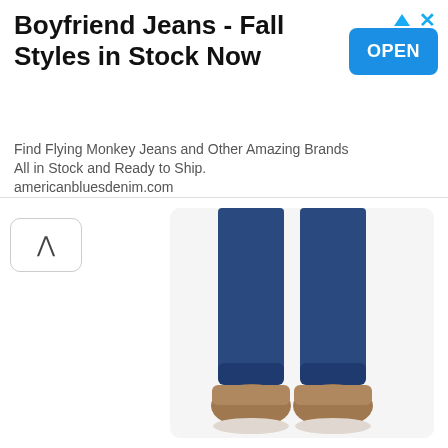[Figure (infographic): Advertisement banner for Boyfriend Jeans with title, subtitle, and OPEN button]
Boyfriend Jeans - Fall Styles in Stock Now
Find Flying Monkey Jeans and Other Amazing Brands All in Stock and Ready to Ship. americanbluesdenim.com
[Figure (photo): Close-up photo of a person's lower legs wearing dark blue denim jeans and brown shoes on a white background]
Diesel Men’s Regular Straight-Leg Jeans
BUY PRODUCT
[Figure (photo): Photo of a person wearing gray/light colored jeans, showing the waist and upper leg area]